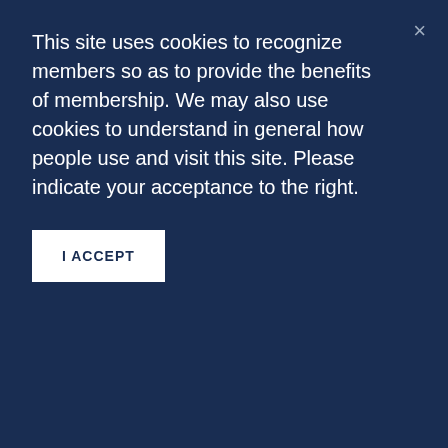This site uses cookies to recognize members so as to provide the benefits of membership. We may also use cookies to understand in general how people use and visit this site. Please indicate your acceptance to the right.
I ACCEPT
What brought you to ACT? What has been the most memorable part of your involvement in ACT?
When I was working with Arlington's TDM program, the esteemed Howard Jennings suggested that I check ACT out and mentioned the important work the organization was doing. I followed his advice and have thoroughly enjoyed being involved.
The most memorable part of my involvement was a couple years back when David Straus asked me to give a talk on curb